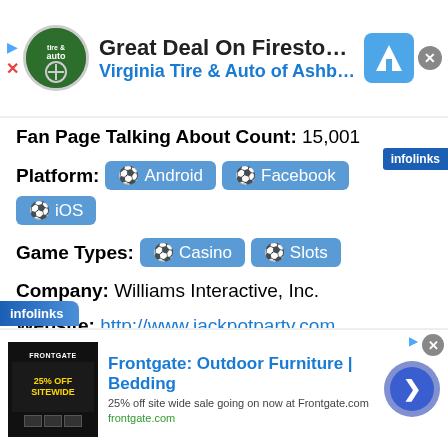[Figure (screenshot): Top advertisement banner: Great Deal On Firestone Tires - Virginia Tire & Auto of Ashburn Fa.]
Fan Page Talking About Count: 15,001
Platform: Android  Facebook  iOS
Game Types: Casino  Slots
Company: Williams Interactive, Inc.
Website: http://www.jackpotparty.com
Release Date: June 12, 2012
Game Status: Active
[Figure (screenshot): Bottom advertisement banner: Frontgate: Outdoor Furniture | Bedding - 25% off site wide sale going on now at Frontgate.com]